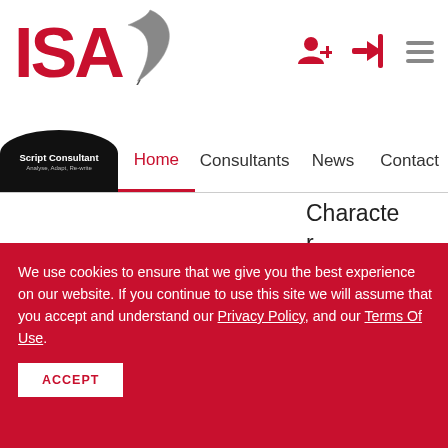[Figure (logo): ISA logo with red text 'ISA' and a grey feather/quill pen icon to the right]
[Figure (logo): Script Consultant logo - circular black badge with white text 'Script Consultant' and tagline 'Analyse, Adapt, Re-write']
Home | Consultants | News | Contact
Character Development, Coaching/Mentoring, Development Notes, Dialogue Work, Entero...
We use cookies to ensure that we give you the best experience on our website. If you continue to use this site we will assume that you accept and understand our Privacy Policy, and our Terms Of Use.
ACCEPT